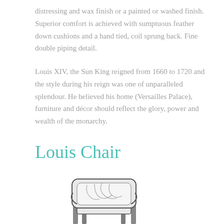distressing and wax finish or a painted or washed finish. Superior comfort is achieved with sumptuous feather down cushions and a hand tied, coil sprung back. Fine double piping detail.
Louis XIV, the Sun King reigned from 1660 to 1720 and the style during his reign was one of unparalleled splendour. He believed his home (Versailles Palace), furniture and décor should reflect the glory, power and wealth of the monarchy.
Louis Chair
[Figure (illustration): Partial illustration of an ornate Louis-style armchair with decorative fabric, shown from the front, cropped at the bottom of the page.]